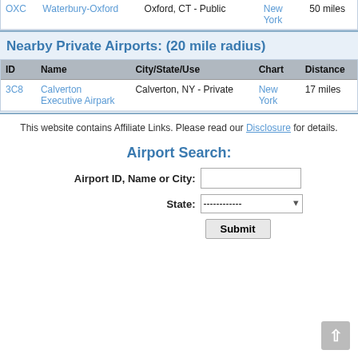| ID | Name | City/State/Use | Chart | Distance |
| --- | --- | --- | --- | --- |
| OXC | Waterbury-Oxford | Oxford, CT - Public | New York | 50 miles |
Nearby Private Airports: (20 mile radius)
| ID | Name | City/State/Use | Chart | Distance |
| --- | --- | --- | --- | --- |
| 3C8 | Calverton Executive Airpark | Calverton, NY - Private | New York | 17 miles |
This website contains Affiliate Links. Please read our Disclosure for details.
Airport Search: Airport ID, Name or City: [input] State: [select] Submit